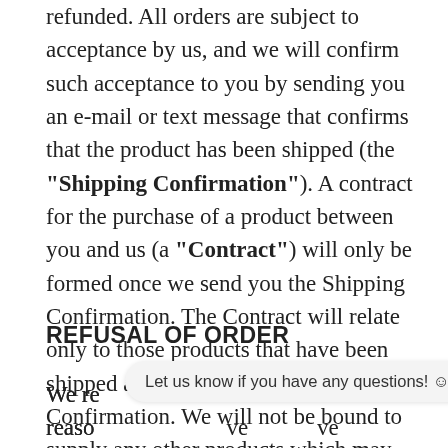deducted from your account, the funds will be fully refunded. All orders are subject to acceptance by us, and we will confirm such acceptance to you by sending you an e-mail or text message that confirms that the product has been shipped (the "Shipping Confirmation"). A contract for the purchase of a product between you and us (a "Contract") will only be formed once we send you the Shipping Confirmation. The Contract will relate only to those products that have been shipped as confirmed by the Shipping Confirmation. We will not be bound to supply any other products which may have been part of your order until the shipment of such products has been confirmed in a separate email or text message.
REFUSAL OF ORDER
We reserve the right to refuse an order for any reason or reasons. We also have the right to cancel your order by written notice without